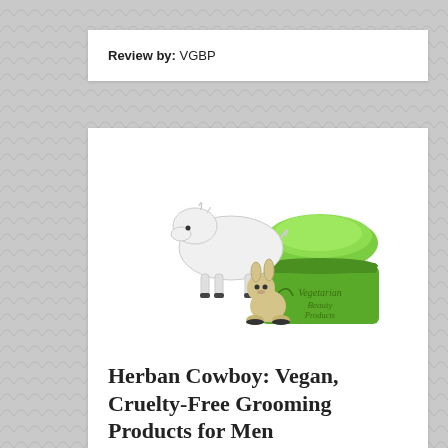Review by: VGBP
[Figure (logo): Vegetarian Beauty Products logo featuring a white goat and a small bunny next to a green cream jar with 'Vegetarian Beauty Products' written on it]
Herban Cowboy: Vegan, Cruelty-Free Grooming Products for Men
April 30, 2012